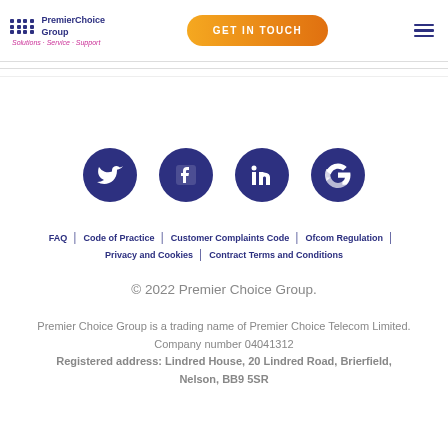PremierChoice Group | Solutions · Service · Support | GET IN TOUCH
[Figure (illustration): Four social media icon circles (Twitter, Facebook, LinkedIn, Google) in dark navy blue on white background]
FAQ | Code of Practice | Customer Complaints Code | Ofcom Regulation | Privacy and Cookies | Contract Terms and Conditions
© 2022 Premier Choice Group.
Premier Choice Group is a trading name of Premier Choice Telecom Limited. Company number 04041312 Registered address: Lindred House, 20 Lindred Road, Brierfield, Nelson, BB9 5SR